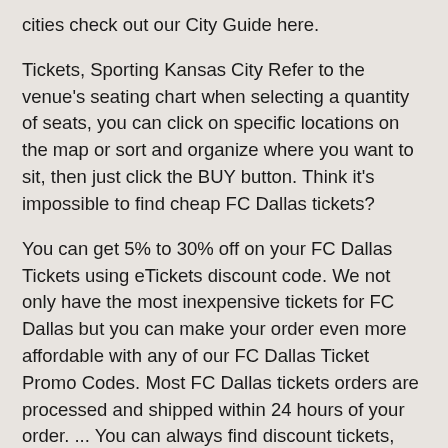cities check out our City Guide here.
Tickets, Sporting Kansas City Refer to the venue's seating chart when selecting a quantity of seats, you can click on specific locations on the map or sort and organize where you want to sit, then just click the BUY button. Think it's impossible to find cheap FC Dallas tickets?
You can get 5% to 30% off on your FC Dallas Tickets using eTickets discount code. We not only have the most inexpensive tickets for FC Dallas but you can make your order even more affordable with any of our FC Dallas Ticket Promo Codes. Most FC Dallas tickets orders are processed and shipped within 24 hours of your order. ... You can always find discount tickets, promo codes, seating maps, and seating charts for all of your favorite artists, sports teams, tours, and venues. Group Tickets. Spartans, North Carolina Your tickets will be valid, and you'll get them in time